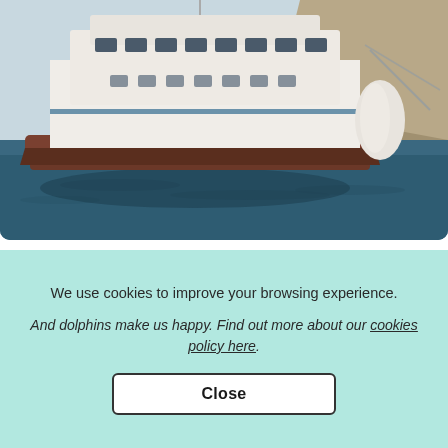[Figure (photo): Photograph of a large white yacht/liveaboard boat on dark blue water, viewed from the side, with cliffs in the background]
Tours in Sharm El-Sheikh · 15 guests
Freedom VIII Liveaboard & Daily & Private Trips i...
★ New
$95 day
We use cookies to improve your browsing experience.
And dolphins make us happy. Find out more about our cookies policy here.
Close